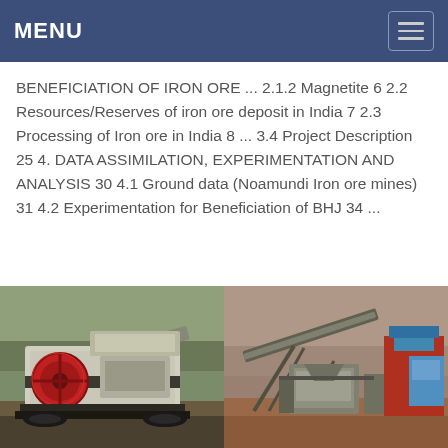MENU
BENEFICIATION OF IRON ORE ... 2.1.2 Magnetite 6 2.2 Resources/Reserves of iron ore deposit in India 7 2.3 Processing of Iron ore in India 8 ... 3.4 Project Description 25 4. DATA ASSIMILATION, EXPERIMENTATION AND ANALYSIS 30 4.1 Ground data (Noamundi Iron ore mines) 31 4.2 Experimentation for Beneficiation of BHJ 34 ...
[Figure (photo): Two photos side by side of iron ore mining and crushing equipment. Left: a mobile jaw crusher machine with a red flywheel, white and black body, set against a hillside background. Right: a conveyor belt system and crushing/screening plant for iron ore processing, set in an open-cast mine environment with reddish-brown earth.]